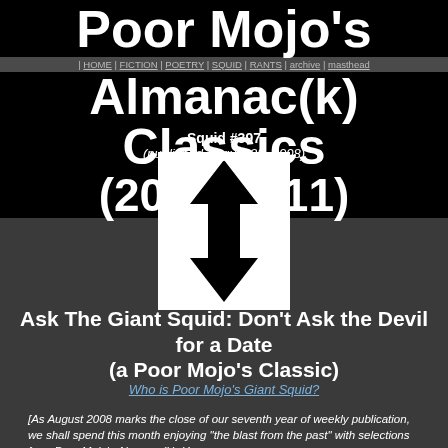Poor Mojo's Almanac(k) Classics (2000-2011)
| HOME | FICTION | POETRY | SQUID | RANTS | archive | masthead
Squid #397
(published August 28, 2008)
[Figure (logo): White square with black border containing up and down arrows logo — double-headed arrow symbol in black and white]
Ask The Giant Squid: Don't Ask the Devil for a Date
(a Poor Mojo's Classic)
Who is Poor Mojo's Giant Squid?
[As August 2008 marks the close of our seventh year of weekly publication, we shall spend this month enjoying "the blast from the past" with selections from Poor Mojo's Almanac(k): Year